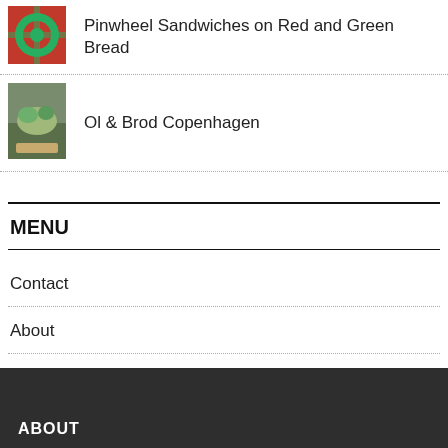Pinwheel Sandwiches on Red and Green Bread
Ol & Brod Copenhagen
MENU
Contact
About
Video Production
ABOUT